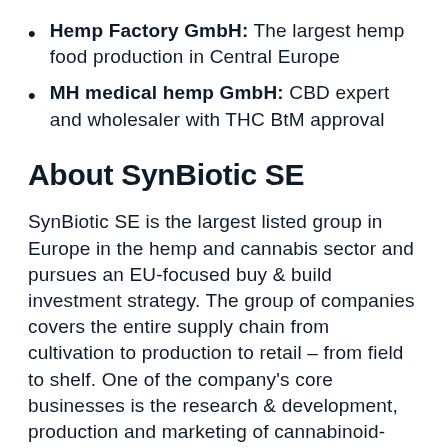Hemp Factory GmbH: The largest hemp food production in Central Europe
MH medical hemp GmbH: CBD expert and wholesaler with THC BtM approval
About SynBiotic SE
SynBiotic SE is the largest listed group in Europe in the hemp and cannabis sector and pursues an EU-focused buy & build investment strategy. The group of companies covers the entire supply chain from cultivation to production to retail – from field to shelf. One of the company's core businesses is the research & development, production and marketing of cannabinoid- and terpene-based solutions to major societal problems such as pain, sleep and anxiety. In doing